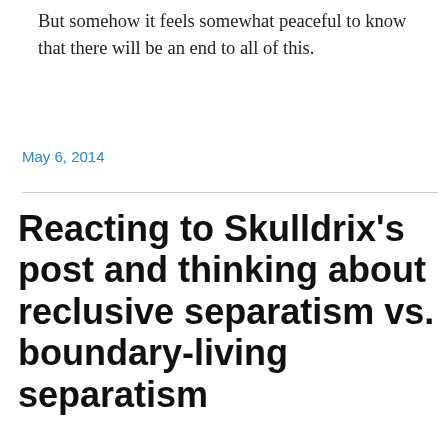But somehow it feels somewhat peaceful to know that there will be an end to all of this.
May 6, 2014
Reacting to Skulldrix’s post and thinking about reclusive separatism vs. boundary-living separatism
Privacy & Cookies: This site uses cookies. By continuing to use this website, you agree to their use.
To find out more, including how to control cookies, see here: Cookie Policy
Close and accept